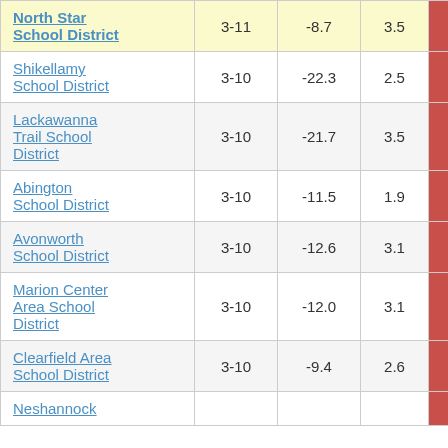| District | Grades | Col3 | Col4 | Col5 | Col6 |
| --- | --- | --- | --- | --- | --- |
| North Star School District | 3-11 | -8.7 | 3.5 | -2.51 | 4 |
| Shikellamy School District | 3-10 | -22.3 | 2.5 | -8.92 |  |
| Lackawanna Trail School District | 3-10 | -21.7 | 3.5 | -6.20 |  |
| Abington School District | 3-10 | -11.5 | 1.9 | -6.00 |  |
| Avonworth School District | 3-10 | -12.6 | 3.1 | -4.01 |  |
| Marion Center Area School District | 3-10 | -12.0 | 3.1 | -3.87 |  |
| Clearfield Area School District | 3-10 | -9.4 | 2.6 | -3.56 |  |
| Neshannock |  |  |  |  |  |